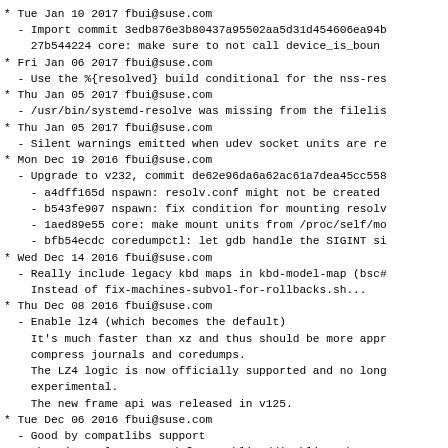* Tue Jan 10 2017 fbui@suse.com
  - Import commit 3edb876e3b80437a95502aa5d31d454606ea94b
    27b544224 core: make sure to not call device_is_bound
* Fri Jan 06 2017 fbui@suse.com
  - Use the %{resolved} build conditional for the nss-res
* Thu Jan 05 2017 fbui@suse.com
  - /usr/bin/systemd-resolve was missing from the filelis
* Thu Jan 05 2017 fbui@suse.com
  - Silent warnings emitted when udev socket units are re
* Mon Dec 19 2016 fbui@suse.com
  - Upgrade to v232, commit de62e96da6a62ac61a7dea45cc558
    - a4dff165d nspawn: resolv.conf might not be created
    - b543fe907 nspawn: fix condition for mounting resolv
    - 1aed89e55 core: make mount units from /proc/self/mo
    - bfb54ecdc coredumpctl: let gdb handle the SIGINT si
* Wed Dec 14 2016 fbui@suse.com
  - Really include legacy kbd maps in kbd-model-map (bsc#
    Instead of fix-machines-subvol-for-rollbacks.sh...
* Thu Dec 08 2016 fbui@suse.com
  - Enable lz4 (which becomes the default)
    It's much faster than xz and thus should be more appr
    compress journals and coredumps.
    The LZ4 logic is now officially supported and no long
    experimental.
    The new frame api was released in v125.
* Tue Dec 06 2016 fbui@suse.com
  - Good by compatlibs support
    There's no longer need for enabling/disabling the sup
    compatlibs as it's been dropped from the source code
* Tue Nov 29 2016 fbui@suse.com